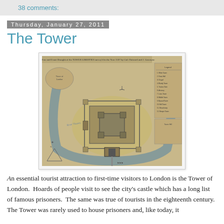38 comments:
Thursday, January 27, 2011
The Tower
[Figure (map): Historical map of the Tower of London showing fortifications, moat, and surrounding areas in an engraved style with a legend on the right side]
An essential tourist attraction to first-time visitors to London is the Tower of London.  Hoards of people visit to see the city's castle which has a long list of famous prisoners.  The same was true of tourists in the eighteenth century.  The Tower was rarely used to house prisoners and, like today, it